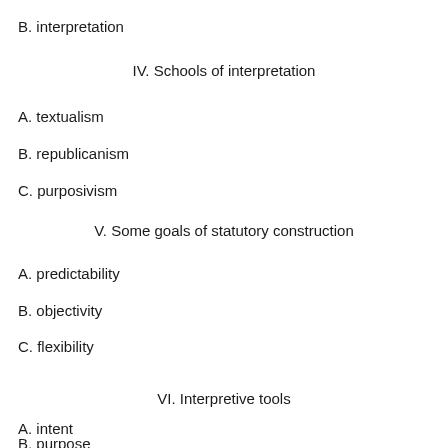B. interpretation
IV. Schools of interpretation
A. textualism
B. republicanism
C. purposivism
V. Some goals of statutory construction
A. predictability
B. objectivity
C. flexibility
VI. Interpretive tools
A. intent
B. purpose